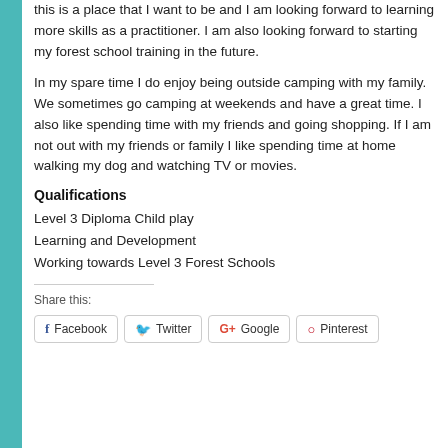this is a place that I want to be and I am looking forward to learning more skills as a practitioner. I am also looking forward to starting my forest school training in the future.
In my spare time I do enjoy being outside camping with my family. We sometimes go camping at weekends and have a great time. I also like spending time with my friends and going shopping. If I am not out with my friends or family I like spending time at home walking my dog and watching TV or movies.
Qualifications
Level 3 Diploma Child play
Learning and Development
Working towards Level 3 Forest Schools
Share this:
Facebook  Twitter  Google  Pinterest